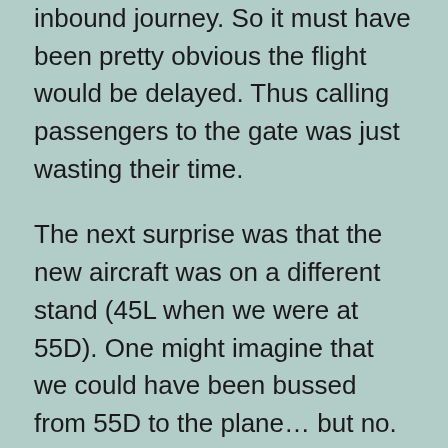inbound journey. So it must have been pretty obvious the flight would be delayed. Thus calling passengers to the gate was just wasting their time.
The next surprise was that the new aircraft was on a different stand (45L when we were at 55D). One might imagine that we could have been bussed from 55D to the plane… but no. Instead we had to reverse through the domestic departures then check in again at gate 45L (where there were initially no gate staff). When asked why we couldn't be bussed, we were told there might not be buses